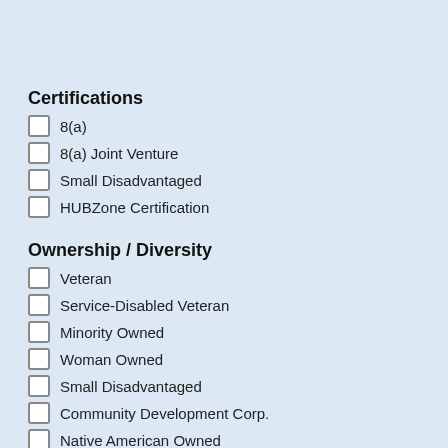Certifications
8(a)
8(a) Joint Venture
Small Disadvantaged
HUBZone Certification
Ownership / Diversity
Veteran
Service-Disabled Veteran
Minority Owned
Woman Owned
Small Disadvantaged
Community Development Corp.
Native American Owned